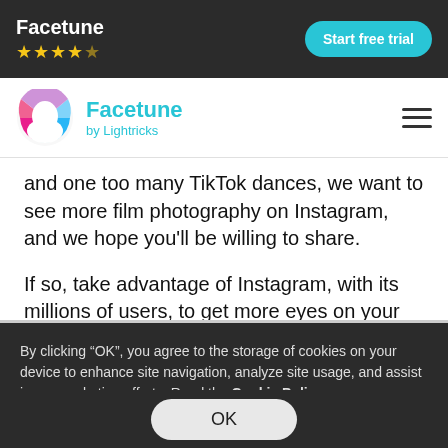Facetune ★★★★☆  Start free trial
[Figure (logo): Facetune by Lightricks logo with circular gradient icon]
and one too many TikTok dances, we want to see more film photography on Instagram, and we hope you'll be willing to share.
If so, take advantage of Instagram, with its millions of users, to get more eyes on your photos. These hashtags can help.
By clicking “OK”, you agree to the storage of cookies on your device to enhance site navigation, analyze site usage, and assist in our marketing efforts. Read the Cookie Policy
OK